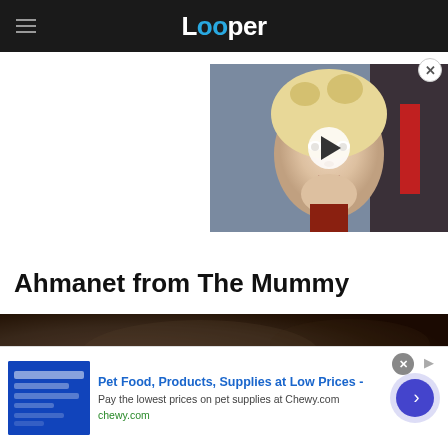Looper
[Figure (screenshot): Video thumbnail showing a blonde woman (Daenerys Targaryen from Game of Thrones), with a white play button circle overlay on a dark background. Close (X) button in top-right corner.]
Ahmanet from The Mummy
[Figure (photo): Dark brown/sepia toned image, appears to be a scene from a film or TV show.]
Pet Food, Products, Supplies at Low Prices -
Pay the lowest prices on pet supplies at Chewy.com
chewy.com